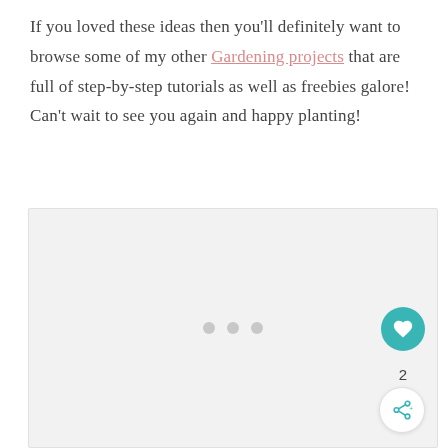If you loved these ideas then you'll definitely want to browse some of my other Gardening projects that are full of step-by-step tutorials as well as freebies galore! Can't wait to see you again and happy planting!
[Figure (other): A light gray image placeholder with three small gray loading dots centered in the area, and a teal heart/like button and share button on the right side.]